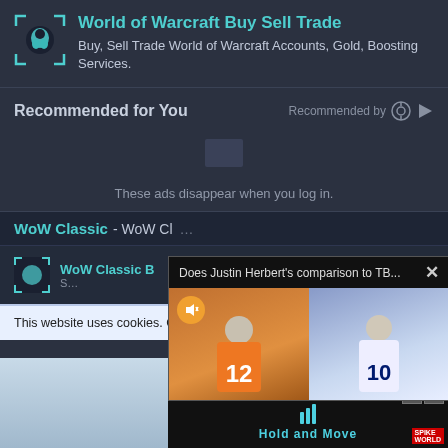[Figure (screenshot): World of Warcraft Buy Sell Trade advertisement banner with teal WoW icon and text]
Recommended for You
These ads disappear when you log in.
WoW Classic - WoW Cl...
[Figure (screenshot): WoW Classic sub-listing item with icon]
This website uses cookies. C... the cookies that are used. B...
[Figure (screenshot): Popup overlay: Does Justin Herbert's comparison to TB... with X close button, showing two football players in jerseys #12 and #10]
[Figure (screenshot): Bottom area with Hold and Move game ad and score bar showing +20 and -33]